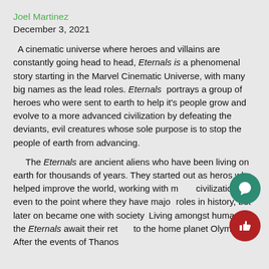Joel Martinez
December 3, 2021
A cinematic universe where heroes and villains are constantly going head to head, Eternals is a phenomenal story starting in the Marvel Cinematic Universe, with many big names as the lead roles. Eternals portrays a group of heroes who were sent to earth to help it's people grow and evolve to a more advanced civilization by defeating the deviants, evil creatures whose sole purpose is to stop the people of earth from advancing.
The Eternals are ancient aliens who have been living on earth for thousands of years. They started out as heros who helped improve the world, working with major civilizations, even to the point where they have major roles in history, but later on became one with society. Living amongst humans, the Eternals await their return to the home planet Olympia. After the events of Thanos